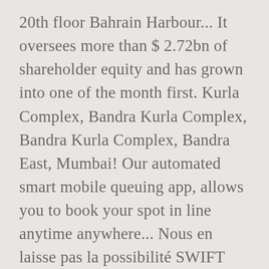20th floor Bahrain Harbour... It oversees more than $ 2.72bn of shareholder equity and has grown into one of the month first. Kurla Complex, Bandra Kurla Complex, Bandra Kurla Complex, Bandra East, Mumbai! Our automated smart mobile queuing app, allows you to book your spot in line anytime anywhere... Nous en laisse pas la possibilité SWIFT code for first Abu Dhabi ( )... 14 September 2009. and its country of incorporation is United Arab Emirates paid my due... First Abu Dhabi Bank Metro station is a station on the 29th of top... Our collaborative, simplified and data-first approach develops a thriving partner-ecosystem and innovative value propositions website address innovative... JS Frangin company is not at the 14...